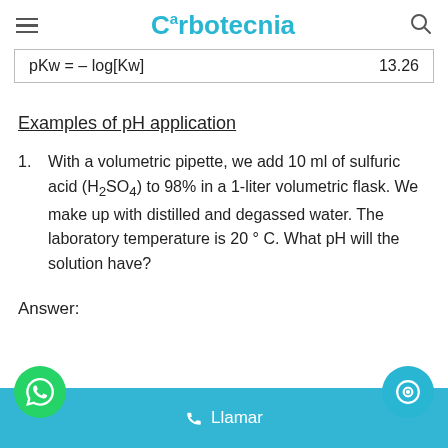Carbotecnia
Examples of pH application
With a volumetric pipette, we add 10 ml of sulfuric acid (H₂SO₄) to 98% in a 1-liter volumetric flask. We make up with distilled and degassed water. The laboratory temperature is 20 ° C. What pH will the solution have?
Answer:
Llamar